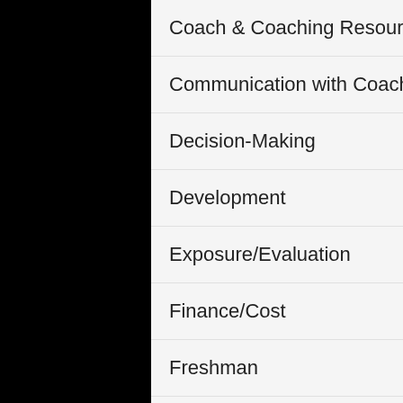| Category | Count |
| --- | --- |
| Coach & Coaching Resources | 4 |
| Communication with Coaches | 26 |
| Decision-Making | 26 |
| Development | 42 |
| Exposure/Evaluation | 34 |
| Finance/Cost | 7 |
| Freshman | 10 |
| Junior | 14 |
| Junior Giants Resources | 5 |
| KPB Blog | 1,201 |
| KPB Podcast | 61 |